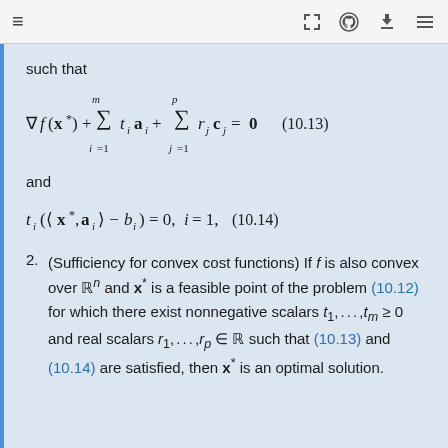≡  [icon-expand] [icon-github] [icon-download] [icon-list]
such that
and
2. (Sufficiency for convex cost functions) If f is also convex over ℝⁿ and x* is a feasible point of the problem (10.12) for which there exist nonnegative scalars t₁,...,t_m ≥ 0 and real scalars r₁,...,r_p ∈ ℝ such that (10.13) and (10.14) are satisfied, then x* is an optimal solution.